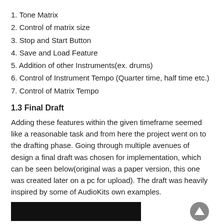1. Tone Matrix
2. Control of matrix size
3. Stop and Start Button
4. Save and Load Feature
5. Addition of other Instruments(ex. drums)
6. Control of Instrument Tempo (Quarter time, half time etc.)
7. Control of Matrix Tempo
1.3 Final Draft
Adding these features within the given timeframe seemed like a reasonable task and from here the project went on to the drafting phase. Going through multiple avenues of design a final draft was chosen for implementation, which can be seen below(original was a paper version, this one was created later on a pc for upload). The draft was heavily inspired by some of AudioKits own examples.
[Figure (photo): Bottom portion of a dark/black image strip showing part of an interface screenshot]